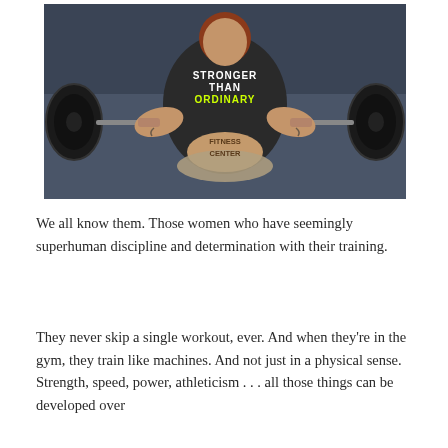[Figure (photo): Overhead/top-down view of a powerlifter (woman with red hair) gripping a heavy barbell loaded with large black plates. She is wearing a black t-shirt that reads 'STRONGER THAN ORDINARY' in white and yellow text. Her lower back is exposed showing 'FITNESS CENTER' written on the skin. She wears a lifting belt. The gym floor is visible around her.]
We all know them. Those women who have seemingly superhuman discipline and determination with their training.
They never skip a single workout, ever. And when they're in the gym, they train like machines. And not just in a physical sense. Strength, speed, power, athleticism . . . all those things can be developed over